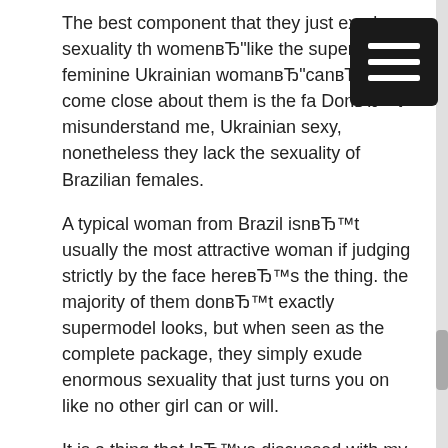The best component that they just exude sexuality that womenвЂ"like the super feminine Ukrainian womanвЂ"canвЂ™t come close about them is the fa DonвЂ™t misunderstand me, Ukrainian sexy, nonetheless they lack the sexuality of Brazilian females.
A typical woman from Brazil isnвЂ™t usually the most attractive woman if judging strictly by the face hereвЂ™s the thing. the majority of them donвЂ™t exactly supermodel looks, but when seen as the complete package, they simply exude enormous sexuality that just turns you on like no other girl can or will.
It is a thing that IвЂ™ve discussed with my buddies. And all sorts of of them agree that thereвЂ™s just one thing magical about Brazilian females that practically all the other females simply lack.
As an example, Eastern European women can be gorgeous